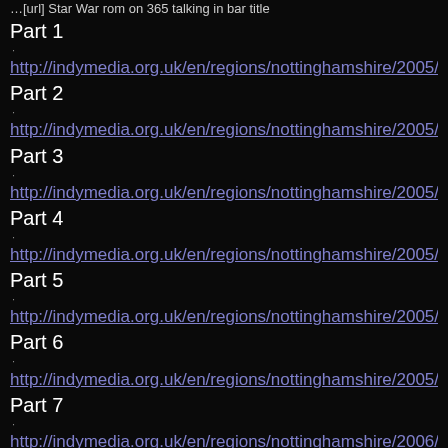…[url] Star War rom on 365 talking in bar title
Part 1
.
http://indymedia.org.uk/en/regions/nottinghamshire/2005/
Part 2
.
http://indymedia.org.uk/en/regions/nottinghamshire/2005/
Part 3
.
http://indymedia.org.uk/en/regions/nottinghamshire/2005/
Part 4
.
http://indymedia.org.uk/en/regions/nottinghamshire/2005/
Part 5
.
http://indymedia.org.uk/en/regions/nottinghamshire/2005/
Part 6
.
http://indymedia.org.uk/en/regions/nottinghamshire/2005/
Part 7
.
http://indymedia.org.uk/en/regions/nottinghamshire/2006/
Part 8
.
http://indymedia.org.uk/en/regions/nottinghamshire/2006/